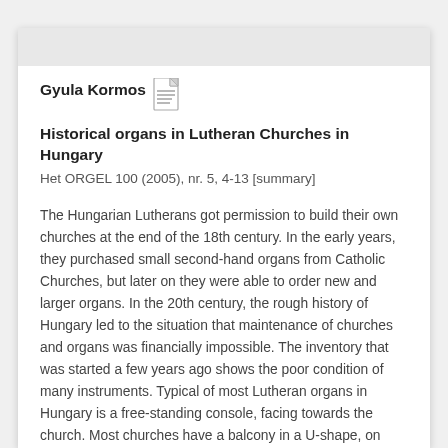Gyula Kormos  Historical organs in Lutheran Churches in Hungary
Het ORGEL 100 (2005), nr. 5, 4-13 [summary]
The Hungarian Lutherans got permission to build their own churches at the end of the 18th century. In the early years, they purchased small second-hand organs from Catholic Churches, but later on they were able to order new and larger organs. In the 20th century, the rough history of Hungary led to the situation that maintenance of churches and organs was financially impossible. The inventory that was started a few years ago shows the poor condition of many instruments. Typical of most Lutheran organs in Hungary is a free-standing console, facing towards the church. Most churches have a balcony in a U-shape, on which the organ is located against the west wall. Some organs have denominational bell towers and...